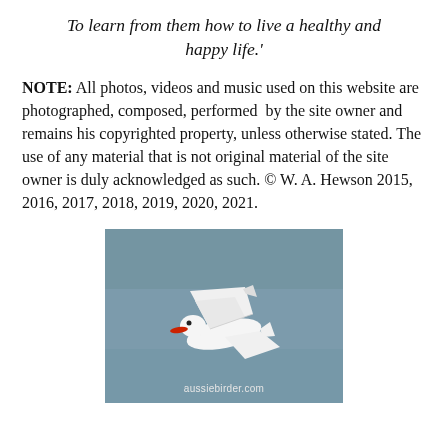To learn from them how to live a healthy and happy life.'
NOTE: All photos, videos and music used on this website are photographed, composed, performed by the site owner and remains his copyrighted property, unless otherwise stated. The use of any material that is not original material of the site owner is duly acknowledged as such. © W. A. Hewson 2015, 2016, 2017, 2018, 2019, 2020, 2021.
[Figure (photo): A white seabird (tern) in flight against a grey-blue water background, with a red beak visible, and the watermark 'aussiebirder.com' at the bottom.]